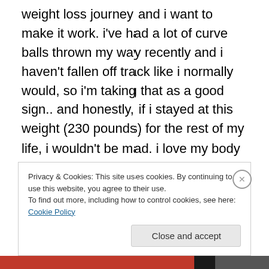weight loss journey and i want to make it work.  i've had a lot of curve balls thrown my way recently and i haven't fallen off track like i normally would, so i'm taking that as a good sign.. and honestly, if i stayed at this weight (230 pounds) for the rest of my life, i wouldn't be mad.  i love my body right now, i just want it to be a little tighter.  i don't want abs or a thigh gap or whatever, but i want to be able to lift heavy weights and see some muscle definition in my arms and legs.
Privacy & Cookies: This site uses cookies. By continuing to use this website, you agree to their use.
To find out more, including how to control cookies, see here: Cookie Policy